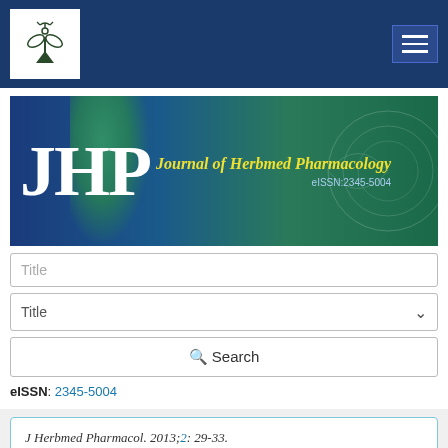[Figure (logo): JHP Journal of Herbmed Pharmacology website screenshot with navigation bar and journal banner]
Title (search input placeholder)
Title (dropdown placeholder)
Search button
eISSN: 2345-5004
J Herbmed Pharmacol. 2013;2: 29-33.
Abstract View: 2570
PDF Download: 1723
Original Article